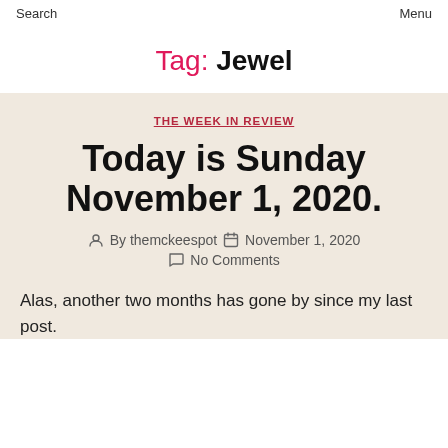Search    Menu
Tag: Jewel
THE WEEK IN REVIEW
Today is Sunday November 1, 2020.
By themckeespot   November 1, 2020   No Comments
Alas, another two months has gone by since my last post.